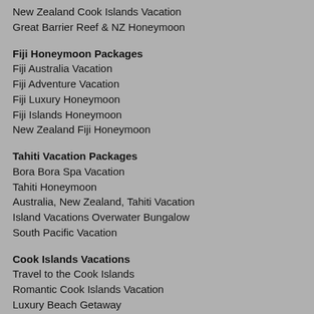New Zealand Cook Islands Vacation
Great Barrier Reef & NZ Honeymoon
Fiji Honeymoon Packages
Fiji Australia Vacation
Fiji Adventure Vacation
Fiji Luxury Honeymoon
Fiji Islands Honeymoon
New Zealand Fiji Honeymoon
Tahiti Vacation Packages
Bora Bora Spa Vacation
Tahiti Honeymoon
Australia, New Zealand, Tahiti Vacation
Island Vacations Overwater Bungalow
South Pacific Vacation
Cook Islands Vacations
Travel to the Cook Islands
Romantic Cook Islands Vacation
Luxury Beach Getaway
Cook Islands Overwater Bungalow
Cook Islands Honeymoon
Travel to Australia
Travel Agents Australia